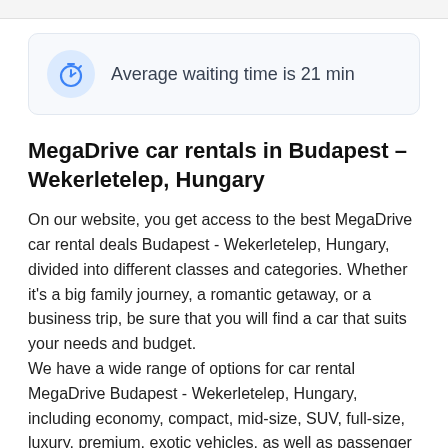[Figure (infographic): Notification box with blue stopwatch icon and text: Average waiting time is 21 min]
MegaDrive car rentals in Budapest – Wekerletelep, Hungary
On our website, you get access to the best MegaDrive car rental deals Budapest - Wekerletelep, Hungary, divided into different classes and categories. Whether it's a big family journey, a romantic getaway, or a business trip, be sure that you will find a car that suits your needs and budget.
We have a wide range of options for car rental MegaDrive Budapest - Wekerletelep, Hungary, including economy, compact, mid-size, SUV, full-size, luxury, premium, exotic vehicles, as well as passenger vans and minivans. By using filters, you can sort the cars of a specific group, which will allow you to quickly select exactly what you need.
If you haven't found the desired MegaDrive rental car